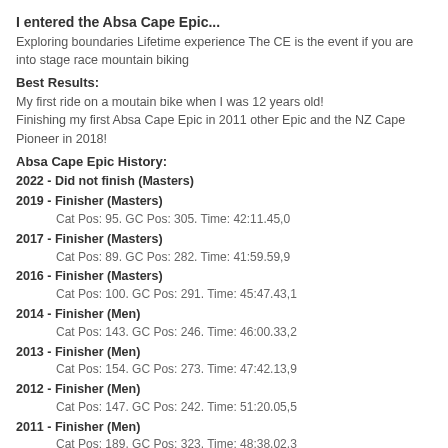I entered the Absa Cape Epic...
Exploring boundaries Lifetime experience The CE is the event if you are into stage race mountain biking
Best Results:
My first ride on a moutain bike when I was 12 years old!
Finishing my first Absa Cape Epic in 2011 other Epic and the NZ Cape Pioneer in 2018!
Absa Cape Epic History:
2022 - Did not finish (Masters)
2019 - Finisher (Masters)
Cat Pos: 95. GC Pos: 305. Time: 42:11.45,0
2017 - Finisher (Masters)
Cat Pos: 89. GC Pos: 282. Time: 41:59.59,9
2016 - Finisher (Masters)
Cat Pos: 100. GC Pos: 291. Time: 45:47.43,1
2014 - Finisher (Men)
Cat Pos: 143. GC Pos: 246. Time: 46:00.33,2
2013 - Finisher (Men)
Cat Pos: 154. GC Pos: 273. Time: 47:42.13,9
2012 - Finisher (Men)
Cat Pos: 147. GC Pos: 242. Time: 51:20.05,5
2011 - Finisher (Men)
Cat Pos: 189. GC Pos: 323. Time: 48:38.02,3